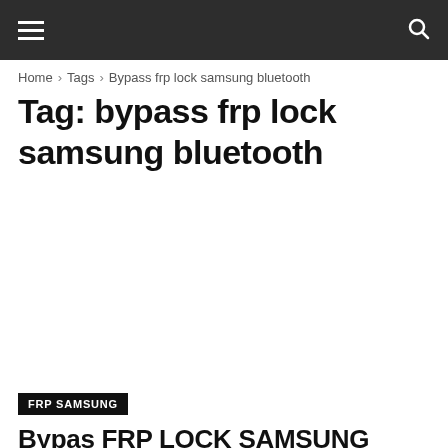Navigation bar with hamburger menu and search icon
Home › Tags › Bypass frp lock samsung bluetooth
Tag: bypass frp lock samsung bluetooth
[Figure (other): White advertisement/image placeholder area]
FRP SAMSUNG
Bypas FRP LOCK SAMSUNG 2020 NO SIM | NO APK NO...